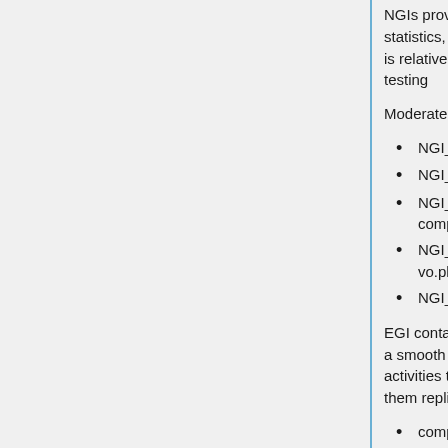NGIs provided WMS usage statistics, and in general the usage is relatively low, mainly for local testing
Moderate usage by few VOs:
NGI_CZ: eli-beams.eu
NGI_GRNET: see
NGI_IT: calet.org, compchem, theophys, virgo
NGI_PL: gaussian, vo.plgrid.pl, vo.nedm.cyfronet
NGI_UK: mice, t2k.org
EGI contacted these VOs to agree a smooth migration of their activities to DIRAC, only some of them replied till now:
compchem is already testing DIRAC
calet.org: discussing with the users the migration to DIRAC. Interested in